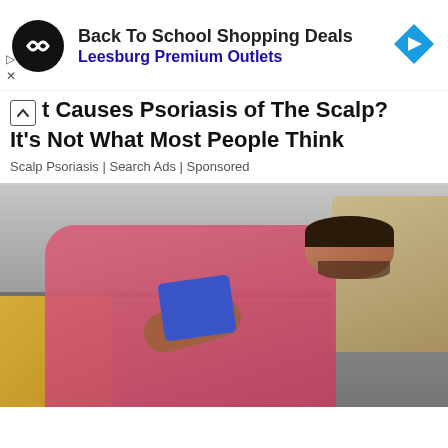[Figure (screenshot): Advertisement banner for Back To School Shopping Deals at Leesburg Premium Outlets with brand logo (black circle with chain-link icon) and blue navigation arrow icon]
t Causes Psoriasis of The Scalp? It's Not What Most People Think
Scalp Psoriasis | Search Ads | Sponsored
[Figure (photo): A man wearing a pink shirt sleeping on a grey sofa/couch, holding a blue tablet on his chest. A person in a yellow shirt is partially visible on the left.]